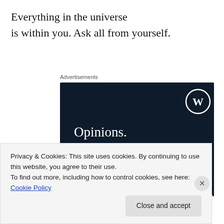Everything in the universe is within you. Ask all from yourself.
Advertisements
[Figure (illustration): WordPress advertisement banner with dark navy background. Shows WordPress logo (W in circle) in top right. Text reads 'Opinions. We all have them!' in white serif font. Pink button at bottom left, grey circle at bottom right.]
Privacy & Cookies: This site uses cookies. By continuing to use this website, you agree to their use.
To find out more, including how to control cookies, see here: Cookie Policy